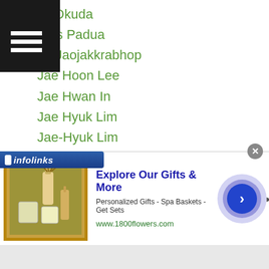ky Okuda
eres Padua
an Jaojakkrabhop
Jae Hoon Lee
Jae Hwan In
Jae Hyuk Lim
Jae-Hyuk Lim
Jaesung Lee
Jae Won Jang
Jae-Won Jang
Jae Wook Ma
Jae Woo Lee
Jahongir Mamadjanov
Ja Ik Goo
Jamed Jalarante
James Mokoginta
[Figure (infographic): Advertisement banner for 1800flowers.com showing gift products. Title: Explore Our Gifts & More. Subtitle: Personalized Gifts - Spa Baskets - Get Sets. URL: www.1800flowers.com. Has a forward arrow button and infolinks label.]